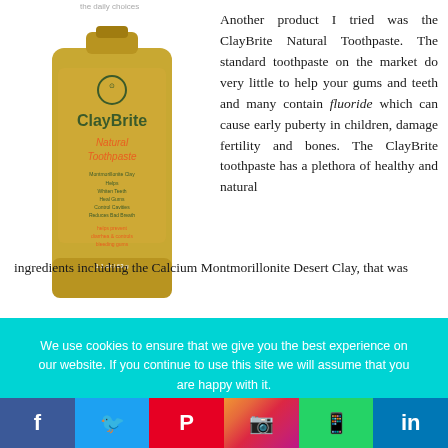the daily choices
[Figure (photo): ClayBrite Natural Toothpaste tube product photo - gold/yellow colored tube]
Another product I tried was the ClayBrite Natural Toothpaste. The standard toothpaste on the market do very little to help your gums and teeth and many contain fluoride which can cause early puberty in children, damage fertility and bones. The ClayBrite toothpaste has a plethora of healthy and natural ingredients including the Calcium Montmorillonite Desert Clay, that was
We use cookies to ensure that we give you the best experience on our website. If you continue to use this site we will assume that you are happy with it.
Ok    Privacy policy